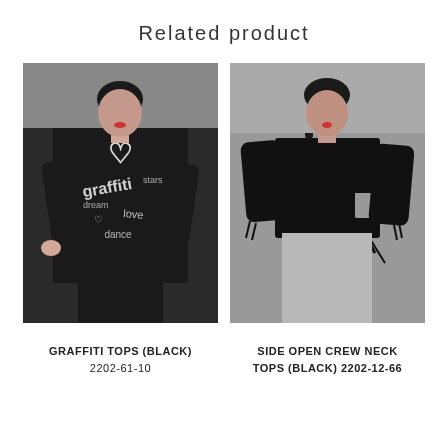Related product
[Figure (photo): Model wearing a black graffiti print long sleeve turtleneck top with white text and graphics, paired with black pants]
GRAFFITI TOPS (BLACK)
2202-61-10
[Figure (photo): Model wearing a black side-open crew neck long sleeve top with cut-out and tie details, paired with light grey pants]
SIDE OPEN CREW NECK
TOPS (BLACK) 2202-12-66